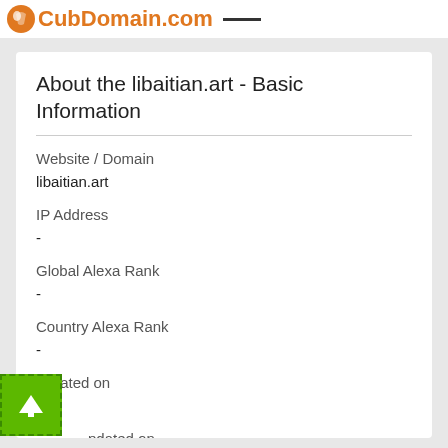CubDomain.com
About the libaitian.art - Basic Information
Website / Domain
libaitian.art
IP Address
-
Global Alexa Rank
-
Country Alexa Rank
-
Created on
-
Updated on
-